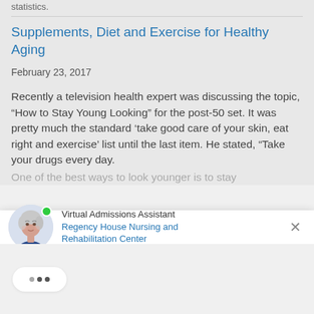statistics.
Supplements, Diet and Exercise for Healthy Aging
February 23, 2017
Recently a television health expert was discussing the topic, “How to Stay Young Looking” for the post-50 set. It was pretty much the standard ‘take good care of your skin, eat right and exercise’ list until the last item. He stated, “Take your drugs every day. One of the best ways to look younger is to stay
[Figure (screenshot): Virtual Admissions Assistant chat widget for Regency House Nursing and Rehabilitation Center, showing an avatar of an older woman with a green online indicator dot, and a close (X) button.]
[Figure (screenshot): Chat typing indicator bubble showing three dots (...) on a light grey background.]